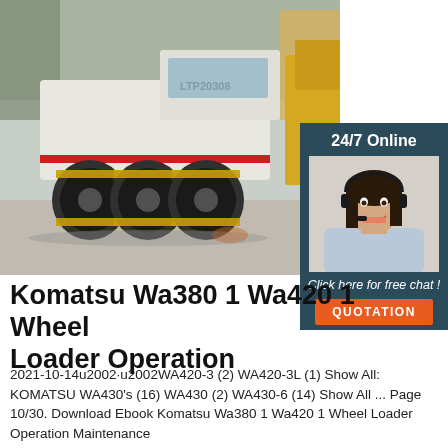[Figure (photo): A large road compactor/roller machine (white with red stripe, labeled LTP20308) with multiple rubber tires visible, parked outdoors. Another yellow construction vehicle is visible in the background.]
[Figure (photo): Chat widget overlay showing a smiling female customer service representative wearing a headset, with '24/7 Online' header text, 'Click here for free chat!' call-to-action, and an orange QUOTATION button.]
Komatsu Wa380 1 Wa420 1 Wheel Loader Operation
2021-10-14u2002·u2002WA420-3 (2) WA420-3L (1) Show All: KOMATSU WA430's (16) WA430 (2) WA430-6 (14) Show All ... Page 10/30. Download Ebook Komatsu Wa380 1 Wa420 1 Wheel Loader Operation Maintenance